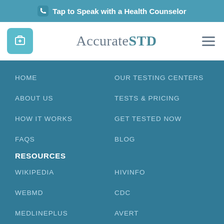Tap to Speak with a Health Counselor
[Figure (logo): AccurateSTD logo with shopping cart icon and hamburger menu]
HOME
OUR TESTING CENTERS
ABOUT US
TESTS & PRICING
HOW IT WORKS
GET TESTED NOW
FAQS
BLOG
RESOURCES
WIKIPEDIA
HIVINFO
WEBMD
CDC
MEDLINEPLUS
AVERT